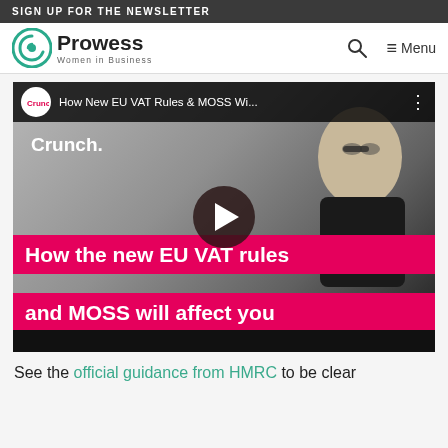SIGN UP FOR THE NEWSLETTER
[Figure (logo): Prowess Women in Business logo with teal spiral icon]
[Figure (screenshot): YouTube-style video thumbnail from Crunch showing a man and text overlays: 'How the new EU VAT rules and MOSS will affect you'. Video title bar reads 'How New EU VAT Rules & MOSS Wi...']
See the official guidance from HMRC to be clear